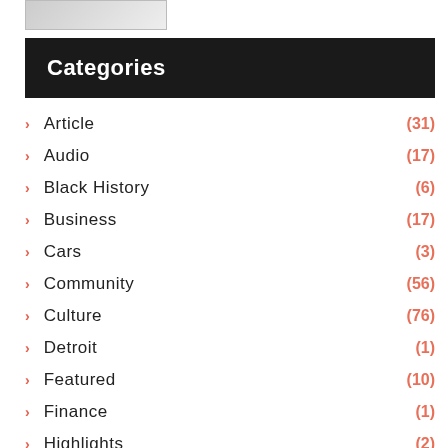[Figure (screenshot): Partial image/screenshot at top left corner]
Categories
Article (31)
Audio (17)
Black History (6)
Business (17)
Cars (3)
Community (56)
Culture (76)
Detroit (1)
Featured (10)
Finance (1)
Highlights (2)